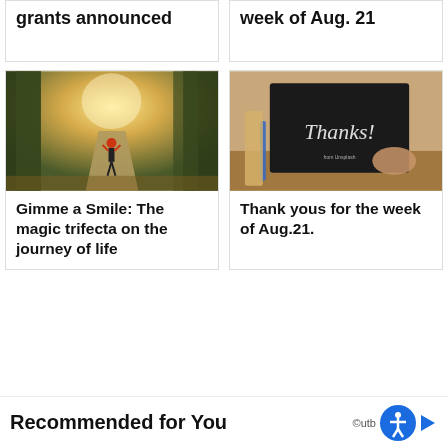grants announced
week of Aug. 21
[Figure (photo): Person walking down a tree-lined path with sunlight filtering through, wearing a red top]
Gimme a Smile: The magic trifecta on the journey of life
[Figure (photo): Hands holding a black chalkboard sign that reads 'Thanks!' in script lettering]
Thank yous for the week of Aug.21.
Recommended for You